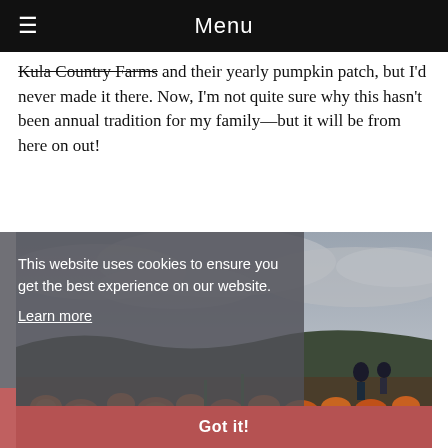≡  Menu
Kula Country Farms and their yearly pumpkin patch, but I'd never made it there. Now, I'm not quite sure why this hasn't been annual tradition for my family—but it will be from here on out!
[Figure (photo): Outdoor photo of a pumpkin patch at a farm with overcast grey sky and rolling hills in the background, pumpkins visible on the ground with visitors walking through.]
This website uses cookies to ensure you get the best experience on our website. Learn more
Got it!